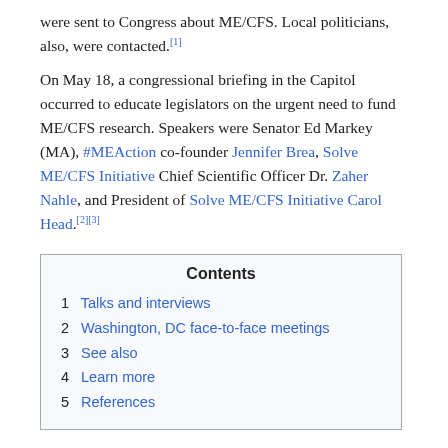were sent to Congress about ME/CFS. Local politicians, also, were contacted.[1]
On May 18, a congressional briefing in the Capitol occurred to educate legislators on the urgent need to fund ME/CFS research. Speakers were Senator Ed Markey (MA), #MEAction co-founder Jennifer Brea, Solve ME/CFS Initiative Chief Scientific Officer Dr. Zaher Nahle, and President of Solve ME/CFS Initiative Carol Head.[2][3]
| Contents |
| --- |
| 1  Talks and interviews |
| 2  Washington, DC face-to-face meetings |
| 3  See also |
| 4  Learn more |
| 5  References |
Talks and interviews